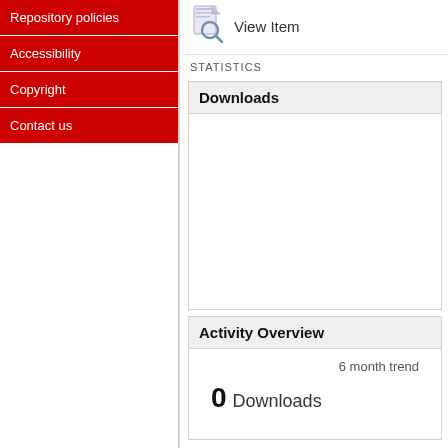Repository policies
Accessibility
Copyright
Contact us
[Figure (illustration): Document with magnifying glass icon representing View Item]
View Item
STATISTICS
Downloads
Activity Overview
6 month trend
0 Downloads